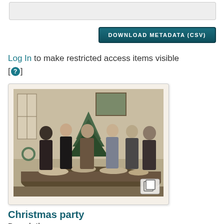[Figure (other): Top gray bar region (partial UI element)]
DOWNLOAD METADATA (CSV)
Log In to make restricted access items visible [?]
[Figure (photo): Black and white vintage photograph of faculty members standing around a table with a Christmas tree and food, at a Christmas party.]
Christmas party
Description:
Faculty members stand around a table with a